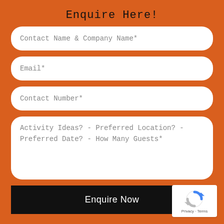Enquire Here!
Contact Name & Company Name*
Email*
Contact Number*
Activity Ideas? - Preferred Location? - Preferred Date? - How Many Guests*
Enquire Now
[Figure (logo): reCAPTCHA logo with 'Privacy - Terms' text below]